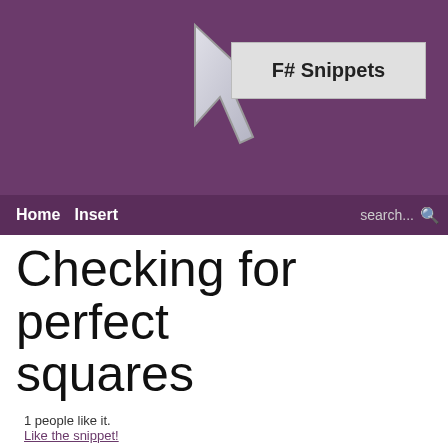F# Snippets
Home  Insert  search...
Checking for perfect squares
1 people like it.
Like the snippet!
Tweet
An implementation of John D. Cook's algorithm for fast-finding perfect squares: http://www.johndcook.com/blog/2008/11/17/fast-way-to-test-whether-a-number-is-a-square/
[Figure (screenshot): F# code snippet showing the beginning of the perfectSquare function. Lines shown: 'let perfectSquare n =', '1: let h = n &&& 0xF', '2: if (h > 9) then false', '3: else', '4: if ( h <> 2 && h <> 3 && h <> 5 && h <']